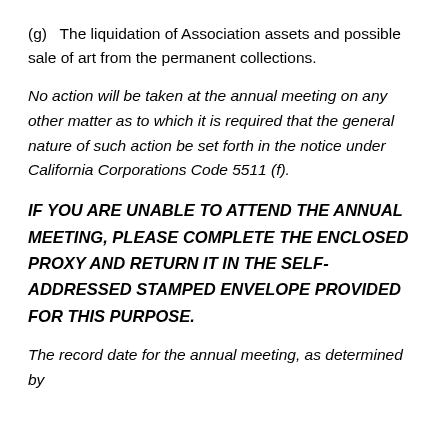(g)   The liquidation of Association assets and possible sale of art from the permanent collections.
No action will be taken at the annual meeting on any other matter as to which it is required that the general nature of such action be set forth in the notice under California Corporations Code 5511 (f).
IF YOU ARE UNABLE TO ATTEND THE ANNUAL MEETING, PLEASE COMPLETE THE ENCLOSED PROXY AND RETURN IT IN THE SELF-ADDRESSED STAMPED ENVELOPE PROVIDED FOR THIS PURPOSE.
The record date for the annual meeting, as determined by